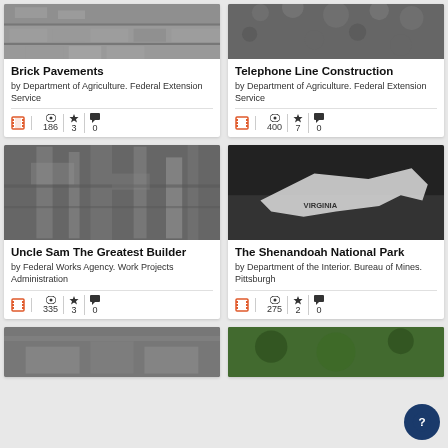[Figure (photo): Grayscale photo of brick pavement surface, top portion cropped]
Brick Pavements
by Department of Agriculture. Federal Extension Service
186 views, 3 favorites, 0 comments
[Figure (photo): Grayscale photo of foliage/trees, top portion cropped]
Telephone Line Construction
by Department of Agriculture. Federal Extension Service
400 views, 7 favorites, 0 comments
[Figure (photo): Grayscale photo of industrial construction scaffolding]
Uncle Sam The Greatest Builder
by Federal Works Agency. Work Projects Administration
335 views, 3 favorites, 0 comments
[Figure (photo): Grayscale photo of Virginia state map shape on dark background]
The Shenandoah National Park
by Department of the Interior. Bureau of Mines. Pittsburgh
275 views, 2 favorites, 0 comments
[Figure (photo): Grayscale photo, bottom of page, partially visible]
[Figure (photo): Greenish/color photo, bottom of page, partially visible]